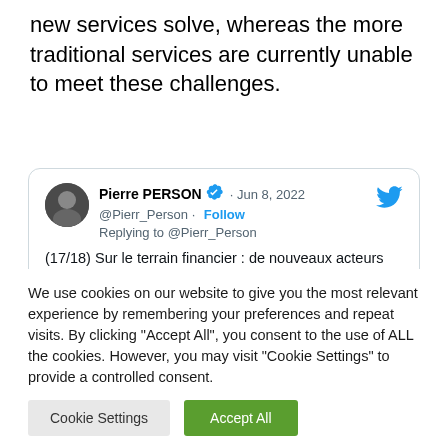new services solve, whereas the more traditional services are currently unable to meet these challenges.
[Figure (screenshot): Embedded tweet from Pierre PERSON (@Pierr_Person), Jun 8, 2022, verified account, replying to @Pierr_Person. Tweet text (17/18): Sur le terrain financier : de nouveaux acteurs vont apparaître, des banques autonomes, aux bourses d'échange et [continues]]
We use cookies on our website to give you the most relevant experience by remembering your preferences and repeat visits. By clicking "Accept All", you consent to the use of ALL the cookies. However, you may visit "Cookie Settings" to provide a controlled consent.